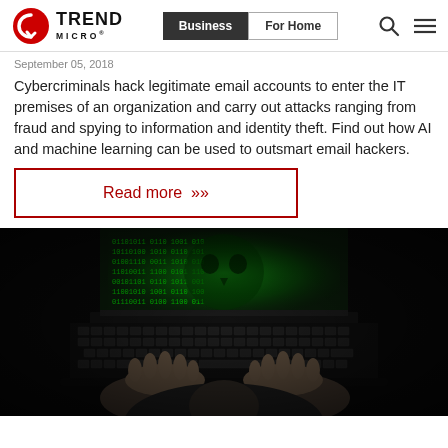Trend Micro | Business | For Home
September 05, 2018
Cybercriminals hack legitimate email accounts to enter the IT premises of an organization and carry out attacks ranging from fraud and spying to information and identity theft. Find out how AI and machine learning can be used to outsmart email hackers.
Read more »
[Figure (photo): Top-down view of a person in a hoodie typing on a laptop keyboard with green matrix code glowing on the screen, dark background — a hacker-style dramatic photo.]